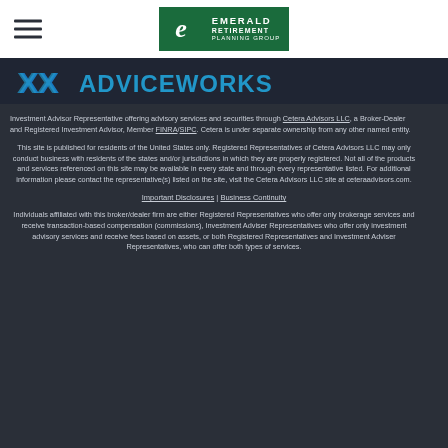[Figure (logo): Emerald Retirement Planning Group logo with green background and stylized E icon]
[Figure (logo): AdviceWorks logo banner in blue/teal on dark background]
Investment Advisor Representative offering advisory services and securities through Cetera Advisors LLC, a Broker-Dealer and Registered Investment Advisor, Member FINRA/SIPC. Cetera is under separate ownership from any other named entity.
This site is published for residents of the United States only. Registered Representatives of Cetera Advisors LLC may only conduct business with residents of the states and/or jurisdictions in which they are properly registered. Not all of the products and services referenced on this site may be available in every state and through every representative listed. For additional information please contact the representative(s) listed on the site, visit the Cetera Advisors LLC site at ceteraadvisors.com.
Important Disclosures | Business Continuity
Individuals affiliated with this broker/dealer firm are either Registered Representatives who offer only brokerage services and receive transaction-based compensation (commissions), Investment Adviser Representatives who offer only investment advisory services and receive fees based on assets, or both Registered Representatives and Investment Adviser Representatives, who can offer both types of services.